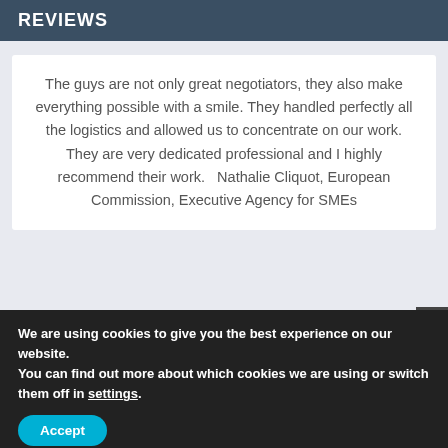REVIEWS
The guys are not only great negotiators, they also make everything possible with a smile. They handled perfectly all the logistics and allowed us to concentrate on our work. They are very dedicated professional and I highly recommend their work.   Nathalie Cliquot, European Commission, Executive Agency for SMEs
We are using cookies to give you the best experience on our website.
You can find out more about which cookies we are using or switch them off in settings.
Accept